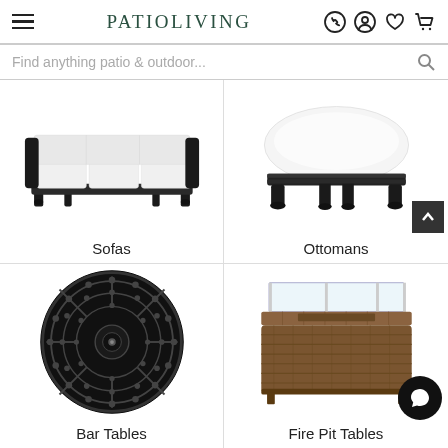PATIOLIVING
Find anything patio & outdoor...
[Figure (photo): Outdoor sofa with dark ornate frame and white cushions]
Sofas
[Figure (photo): Outdoor ottoman with dark ornate base and white cushion top]
Ottomans
[Figure (photo): Round black cast iron bar table top viewed from above]
Bar Tables
[Figure (photo): Rectangular woven fire pit table with glass wind guard]
Fire Pit Tables